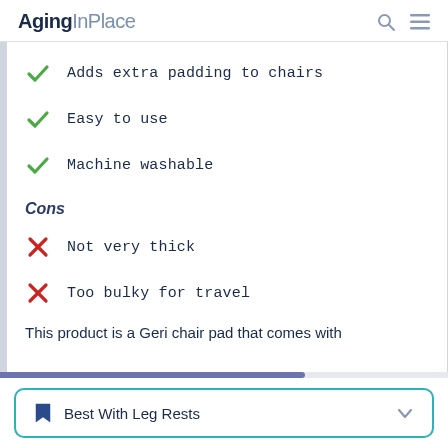AgingInPlace
Adds extra padding to chairs
Easy to use
Machine washable
Cons
Not very thick
Too bulky for travel
This product is a Geri chair pad that comes with
Best With Leg Rests